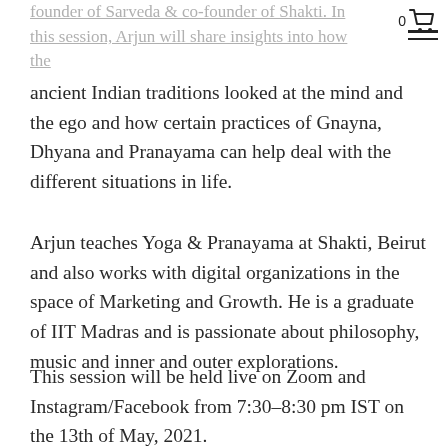founder of Sarveda & co-founder of Shakti. In this session, Arjun will share insights into how the ancient Indian traditions looked at the mind and the ego and how certain practices of Gnayna, Dhyana and Pranayama can help deal with the different situations in life.
Arjun teaches Yoga & Pranayama at Shakti, Beirut and also works with digital organizations in the space of Marketing and Growth. He is a graduate of IIT Madras and is passionate about philosophy, music and inner and outer explorations.
This session will be held live on Zoom and Instagram/Facebook from 7:30–8:30 pm IST on the 13th of May, 2021.